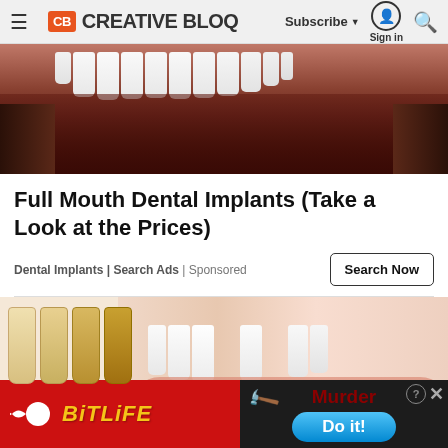Creative Bloq — Subscribe | Sign in | Search
[Figure (photo): Close-up photo of a man's mouth showing white teeth and facial stubble, cropped tightly on the lower face]
Full Mouth Dental Implants (Take a Look at the Prices)
Dental Implants | Search Ads | Sponsored
[Figure (photo): Close-up photo of a woman smiling with white teeth, with dental veneer shade samples held up on the left side]
[Figure (infographic): BitLife app advertisement banner. Left side red background with BitLife logo in yellow italic text with sperm mascot icon. Right side dark background showing 'Murder' text in dark red and a blue 'Do it!' button with close X button.]